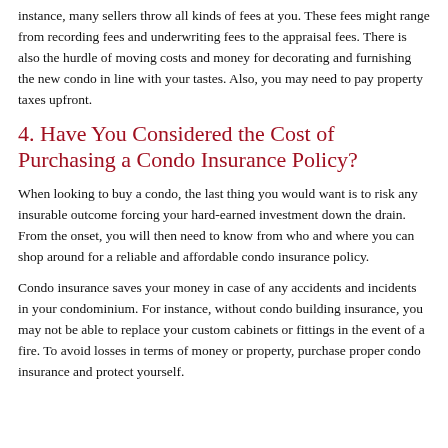instance, many sellers throw all kinds of fees at you. These fees might range from recording fees and underwriting fees to the appraisal fees. There is also the hurdle of moving costs and money for decorating and furnishing the new condo in line with your tastes. Also, you may need to pay property taxes upfront.
4. Have You Considered the Cost of Purchasing a Condo Insurance Policy?
When looking to buy a condo, the last thing you would want is to risk any insurable outcome forcing your hard-earned investment down the drain. From the onset, you will then need to know from who and where you can shop around for a reliable and affordable condo insurance policy.
Condo insurance saves your money in case of any accidents and incidents in your condominium. For instance, without condo building insurance, you may not be able to replace your custom cabinets or fittings in the event of a fire. To avoid losses in terms of money or property, purchase proper condo insurance and protect yourself.